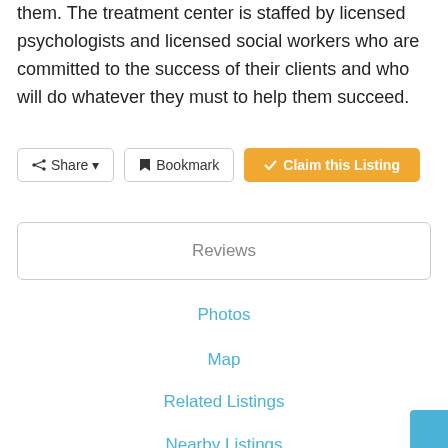them. The treatment center is staffed by licensed psychologists and licensed social workers who are committed to the success of their clients and who will do whatever they must to help them succeed.
Share | Bookmark | Claim this Listing
Reviews
Photos
Map
Related Listings
Nearby Listings